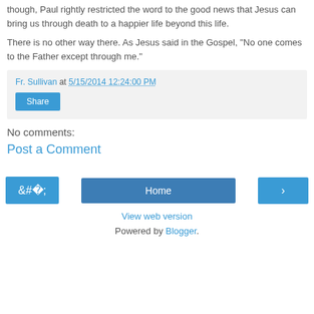though, Paul rightly restricted the word to the good news that Jesus can bring us through death to a happier life beyond this life.
There is no other way there. As Jesus said in the Gospel, “No one comes to the Father except through me.”
Fr. Sullivan at 5/15/2014 12:24:00 PM
Share
No comments:
Post a Comment
‹  Home  ›
View web version
Powered by Blogger.